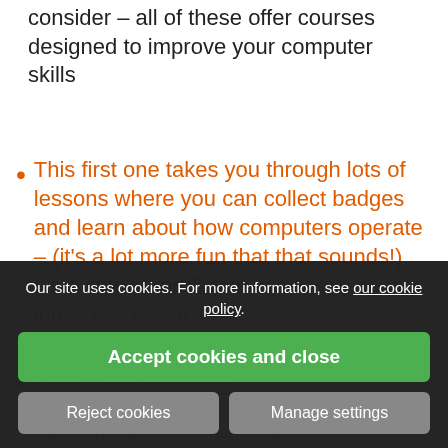consider – all of these offer courses designed to improve your computer skills
This first one takes you through lots of lessons where you can collect badges and learn about how computers operate – (it's a lot more fun that that sounds!) It's a little bit addictive especially as the individual lessons are 'just one more' – https://idea.org.uk/
If you... you can go on you... also some bundled courses on the main...
Our site uses cookies. For more information, see our cookie policy.
Accept cookies and close
Reject cookies
Manage settings